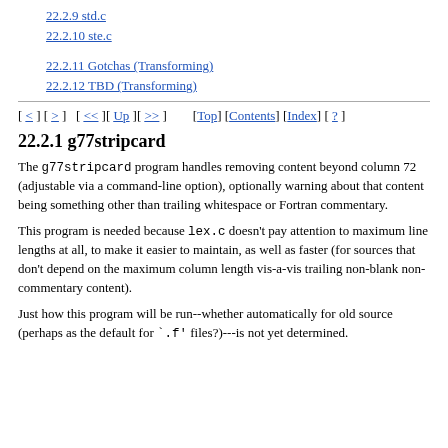22.2.9 std.c
22.2.10 ste.c
22.2.11 Gotchas (Transforming)
22.2.12 TBD (Transforming)
[ < ] [ > ]   [ << ] [ Up ] [ >> ]        [Top] [Contents] [Index] [ ? ]
22.2.1 g77stripcard
The g77stripcard program handles removing content beyond column 72 (adjustable via a command-line option), optionally warning about that content being something other than trailing whitespace or Fortran commentary.
This program is needed because lex.c doesn't pay attention to maximum line lengths at all, to make it easier to maintain, as well as faster (for sources that don't depend on the maximum column length vis-a-vis trailing non-blank non-commentary content).
Just how this program will be run--whether automatically for old source (perhaps as the default for `.f' files?)---is not yet determined.